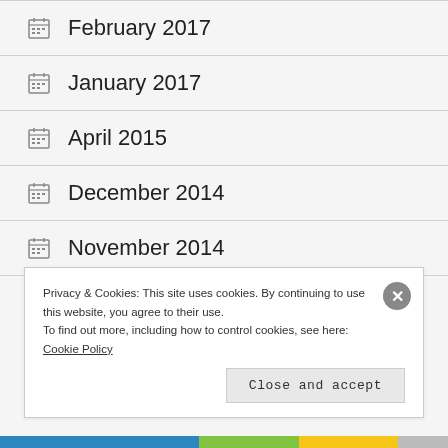February 2017
January 2017
April 2015
December 2014
November 2014
Privacy & Cookies: This site uses cookies. By continuing to use this website, you agree to their use. To find out more, including how to control cookies, see here: Cookie Policy
Close and accept